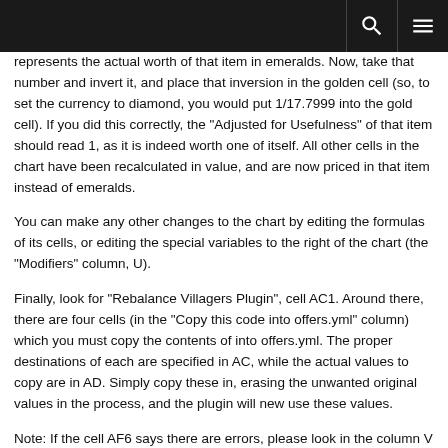represents the actual worth of that item in emeralds. Now, take that number and invert it, and place that inversion in the golden cell (so, to set the currency to diamond, you would put 1/17.7999 into the gold cell). If you did this correctly, the "Adjusted for Usefulness" of that item should read 1, as it is indeed worth one of itself. All other cells in the chart have been recalculated in value, and are now priced in that item instead of emeralds.
You can make any other changes to the chart by editing the formulas of its cells, or editing the special variables to the right of the chart (the "Modifiers" column, U).
Finally, look for "Rebalance Villagers Plugin", cell AC1. Around there, there are four cells (in the "Copy this code into offers.yml" column) which you must copy the contents of into offers.yml. The proper destinations of each are specified in AC, while the actual values to copy are in AD. Simply copy these in, erasing the unwanted original values in the process, and the plugin will new use these values.
Note: If the cell AF6 says there are errors, please look in the column V ("Valid Offer Checker") for what the errors are. These errors are when invalid offers are created, for example offers which are impossible to complete (requesting more items than the player can put in the input slot, offers which would make acquiring a valid item impractical to do)